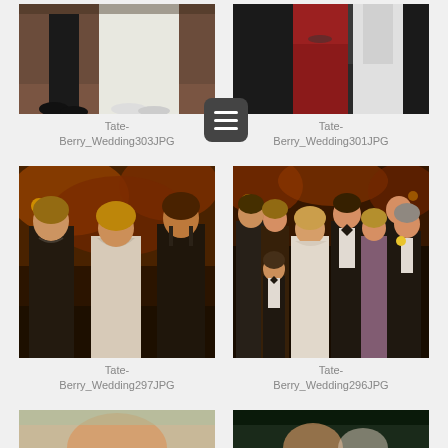[Figure (photo): Partial wedding photo top-left: couple dancing, man in dark suit, woman in white wedding dress on brick floor]
Tate-
Berry_Wedding303JPG
[Figure (photo): Partial wedding photo top-right: two people, woman in red dress]
Tate-
Berry_Wedding301JPG
[Figure (photo): Wedding reception photo: three women posing outdoors at night, two in black dresses, one in white gown, autumn foliage background]
Tate-
Berry_Wedding297JPG
[Figure (photo): Wedding group photo: large family group outdoors at night including bride in white, groom in tuxedo, children, and older relatives]
Tate-
Berry_Wedding296JPG
[Figure (photo): Partial photo bottom-left: close-up portrait outdoors]
[Figure (photo): Partial photo bottom-right: couple outdoors]